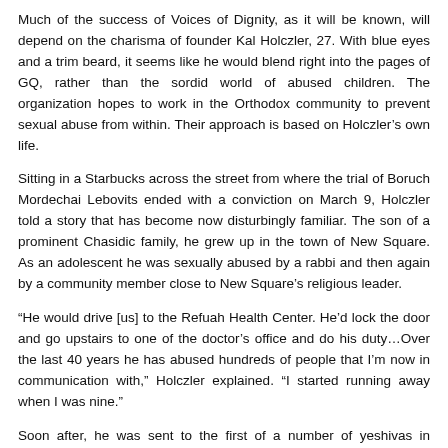Much of the success of Voices of Dignity, as it will be known, will depend on the charisma of founder Kal Holczler, 27. With blue eyes and a trim beard, it seems like he would blend right into the pages of GQ, rather than the sordid world of abused children. The organization hopes to work in the Orthodox community to prevent sexual abuse from within. Their approach is based on Holczler's own life.
Sitting in a Starbucks across the street from where the trial of Boruch Mordechai Lebovits ended with a conviction on March 9, Holczler told a story that has become now disturbingly familiar. The son of a prominent Chasidic family, he grew up in the town of New Square. As an adolescent he was sexually abused by a rabbi and then again by a community member close to New Square's religious leader.
“He would drive [us] to the Refuah Health Center. He’d lock the door and go upstairs to one of the doctor’s office and do his duty…Over the last 40 years he has abused hundreds of people that I’m now in communication with,” Holczler explained. “I started running away when I was nine.”
Soon after, he was sent to the first of a number of yeshivas in Brooklyn and Monsey. Eventually, like so many other survivors of abuse, he fell into drugs and petty theft. He ended up in Israel on a program for troubled